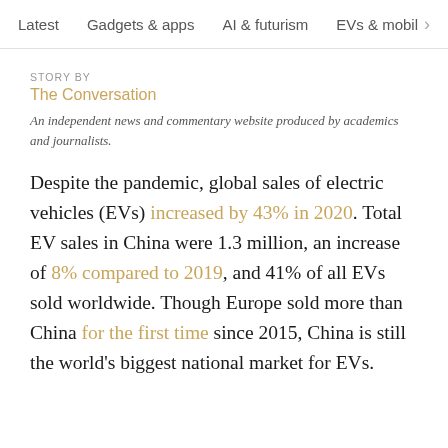Latest   Gadgets & apps   AI & futurism   EVs & mobil  >
STORY BY
The Conversation
An independent news and commentary website produced by academics and journalists.
Despite the pandemic, global sales of electric vehicles (EVs) increased by 43% in 2020. Total EV sales in China were 1.3 million, an increase of 8% compared to 2019, and 41% of all EVs sold worldwide. Though Europe sold more than China for the first time since 2015, China is still the world's biggest national market for EVs.